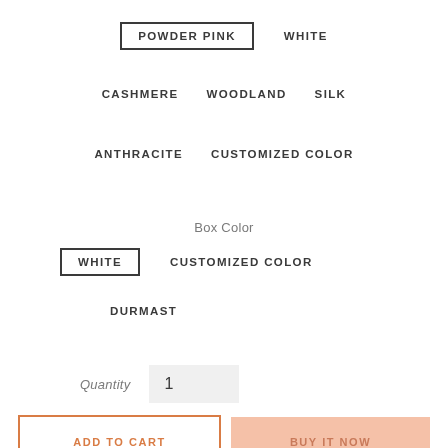POWDER PINK (selected), WHITE
CASHMERE, WOODLAND, SILK
ANTHRACITE, CUSTOMIZED COLOR
Box Color
WHITE (selected), CUSTOMIZED COLOR
DURMAST
Quantity 1
ADD TO CART
BUY IT NOW